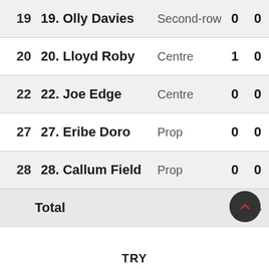| # | Player | Position | Col1 | Col2 |
| --- | --- | --- | --- | --- |
| 19 | 19. Olly Davies | Second-row | 0 | 0 |
| 20 | 20. Lloyd Roby | Centre | 1 | 0 |
| 22 | 22. Joe Edge | Centre | 0 | 0 |
| 27 | 27. Eribe Doro | Prop | 0 | 0 |
| 28 | 28. Callum Field | Prop | 0 | 0 |
|  | Total |  | 4 | 4 |
TRY